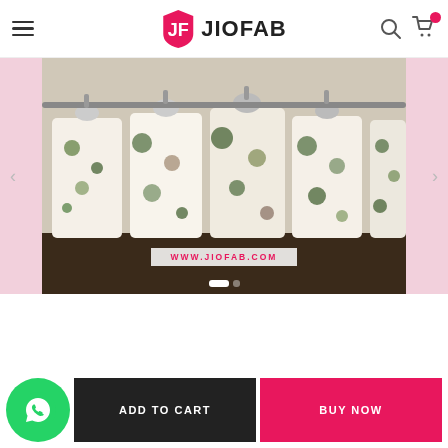JIOFAB - Navigation header with logo, search and cart
[Figure (photo): Fashion clothing banner showing floral/tropical patterned garments hanging on a rack, with text overlay WWW.JIOFAB.COM and slider dots at bottom]
ADD TO CART
BUY NOW